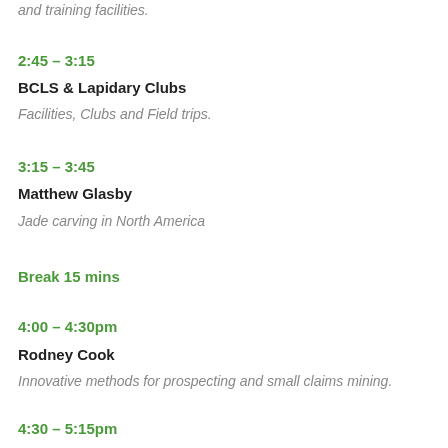and training facilities.
2:45 – 3:15
BCLS & Lapidary Clubs
Facilities, Clubs and Field trips.
3:15 – 3:45
Matthew Glasby
Jade carving in North America
Break 15 mins
4:00 – 4:30pm
Rodney Cook
Innovative methods for prospecting and small claims mining.
4:30 – 5:15pm